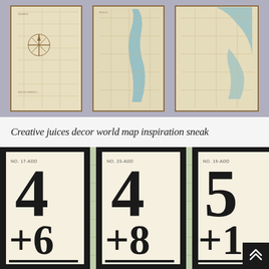[Figure (photo): Three vintage-style world map panels mounted on a wall, showing coastlines, compass rose, and geographic details on aged parchment-colored background.]
Creative juices decor world map inspiration sneak
[Figure (photo): Three framed flashcard-style arithmetic prints on a map-patterned background. Left frame: NO. 17-ADD, showing 4 + 6 =. Middle frame: NO. 23-ADD, showing 4 + 8 =. Right frame: NO. 19-ADD, showing 5 + 1 =.]